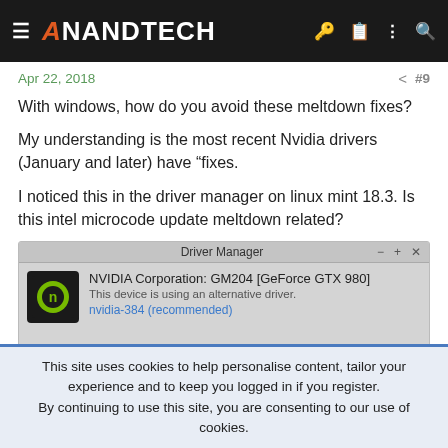AnandTech
Apr 22, 2018  #9
With windows, how do you avoid these meltdown fixes?
My understanding is the most recent Nvidia drivers (January and later) have "fixes.
I noticed this in the driver manager on linux mint 18.3. Is this intel microcode update meltdown related?
[Figure (screenshot): Driver Manager window showing NVIDIA Corporation: GM204 [GeForce GTX 980], This device is using an alternative driver. nvidia-384 (recommended)]
This site uses cookies to help personalise content, tailor your experience and to keep you logged in if you register.
By continuing to use this site, you are consenting to our use of cookies.